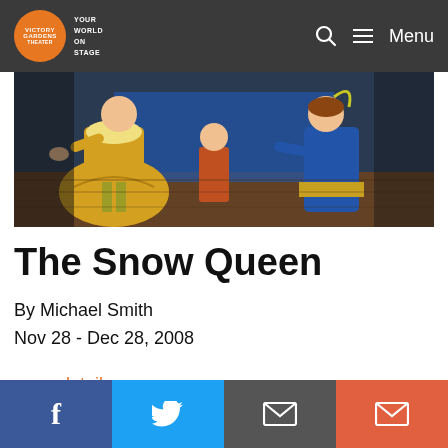Victory Gardens Theater — YOUR WORLD ON STAGE — Menu
[Figure (photo): Theater stage photo showing performers in colorful costumes bowing toward each other, one in yellow dress with green stockings, one in blue and gold costume, on a wooden stage floor with blue backdrop.]
The Snow Queen
By Michael Smith
Nov 28 - Dec 28, 2008
more details
f  Twitter  Email  Email